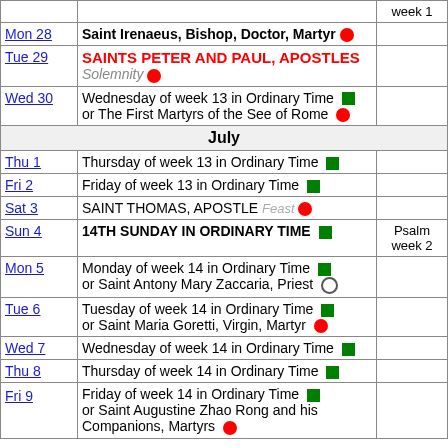| Date | Observance | Psalm |
| --- | --- | --- |
|  |  | week 1 |
| Mon 28 | Saint Irenaeus, Bishop, Doctor, Martyr ● |  |
| Tue 29 | SAINTS PETER AND PAUL, APOSTLES / Solemnity ● |  |
| Wed 30 | Wednesday of week 13 in Ordinary Time ■ / or The First Martyrs of the See of Rome ● |  |
| July |  |  |
| Thu 1 | Thursday of week 13 in Ordinary Time ■ |  |
| Fri 2 | Friday of week 13 in Ordinary Time ■ |  |
| Sat 3 | SAINT THOMAS, APOSTLE Feast ● |  |
| Sun 4 | 14TH SUNDAY IN ORDINARY TIME ■ | Psalm week 2 |
| Mon 5 | Monday of week 14 in Ordinary Time ■ / or Saint Antony Mary Zaccaria, Priest ○ |  |
| Tue 6 | Tuesday of week 14 in Ordinary Time ■ / or Saint Maria Goretti, Virgin, Martyr ● |  |
| Wed 7 | Wednesday of week 14 in Ordinary Time ■ |  |
| Thu 8 | Thursday of week 14 in Ordinary Time ■ |  |
| Fri 9 | Friday of week 14 in Ordinary Time ■ / or Saint Augustine Zhao Rong and his Companions, Martyrs ● |  |